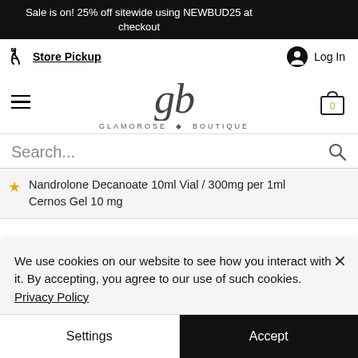Sale is on! 25% off sitewide using NEWBUD25 at checkout
eroider ola
Store Pickup
Log In
[Figure (logo): Glamorose Boutique logo with stylized 'gb' script and boutique name]
Search...
Nandrolone Decanoate 10ml Vial / 300mg per 1ml
Cernos Gel 10 mg
We use cookies on our website to see how you interact with it. By accepting, you agree to our use of such cookies. Privacy Policy
Settings
Accept